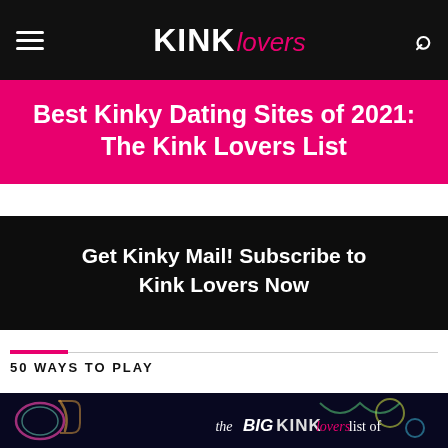KINK Lovers — navigation bar with hamburger menu and search icon
Best Kinky Dating Sites of 2021: The Kink Lovers List
Get Kinky Mail! Subscribe to Kink Lovers Now
50 WAYS TO PLAY
[Figure (illustration): Dark background image with neon-style decorative icons and text reading 'the BIG KINK Lovers list of']